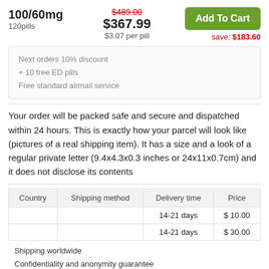100/60mg
120pills
$489.00 (strikethrough) $367.99 $3.07 per pill
Add To Cart
save: $183.60
Next orders 10% discount
+ 10 free ED pills
Free standard airmail service
Your order will be packed safe and secure and dispatched within 24 hours. This is exactly how your parcel will look like (pictures of a real shipping item). It has a size and a look of a regular private letter (9.4x4.3x0.3 inches or 24x11x0.7cm) and it does not disclose its contents
| Country | Shipping method | Delivery time | Price |
| --- | --- | --- | --- |
|  |  | 14-21 days | $ 10.00 |
|  |  | 14-21 days | $ 30.00 |
Shipping worldwide
Confidentiality and anonymity guarantee